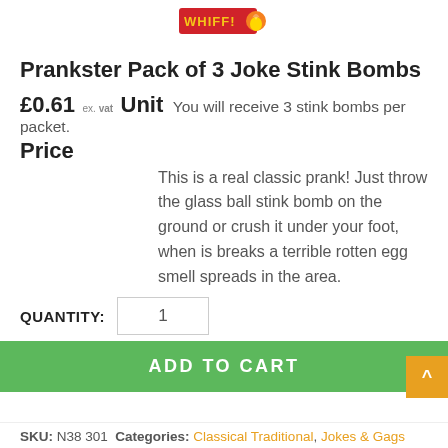[Figure (logo): Whiffy brand logo — red background with yellow text 'WHIFF' and a flame/fruit graphic]
Prankster Pack of 3 Joke Stink Bombs
£0.61 ex. VAT Unit  You will receive 3 stink bombs per packet.
Price
This is a real classic prank! Just throw the glass ball stink bomb on the ground or crush it under your foot, when is breaks a terrible rotten egg smell spreads in the area.
QUANTITY:   1
ADD TO CART
SKU: N38 301  Categories: Classical Traditional, Jokes & Gags